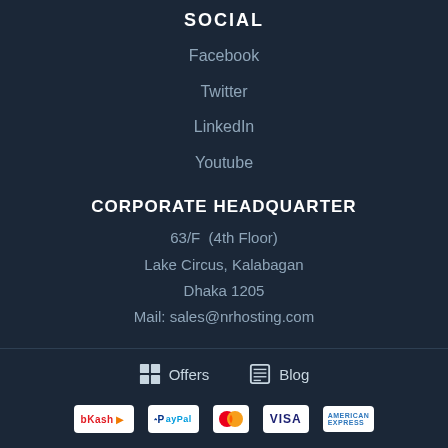SOCIAL
Facebook
Twitter
LinkedIn
Youtube
CORPORATE HEADQUARTER
63/F  (4th Floor)
Lake Circus, Kalabagan
Dhaka 1205
Mail: sales@nrhosting.com
Offers   Blog
[Figure (logo): Payment method logos: bKash, PayPal, Mastercard, VISA, American Express]